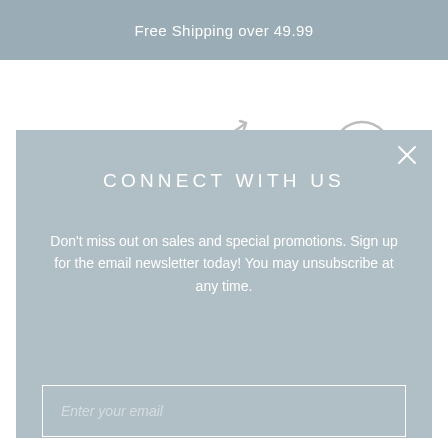Free Shipping over 49.99
[Figure (illustration): Three icons visible: a delivery truck with motion lines, a box being returned/shipped, and a dollar sign coin circle — representing shipping, returns, and savings features.]
CONNECT WITH US
Don't miss out on sales and special promotions. Sign up for the email newsletter today! You may unsubscribe at any time.
Enter your email
SUBSCRIBE